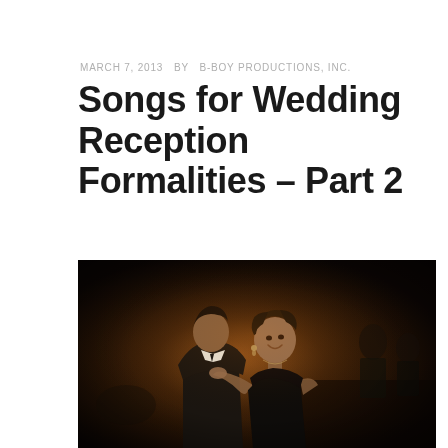MARCH 7, 2013  BY  B-BOY PRODUCTIONS, INC.
Songs for Wedding Reception Formalities – Part 2
[Figure (photo): A couple sharing a first dance at a wedding reception. The man is in a dark suit and the woman, in a dark dress, is smiling as they embrace. Guests are visible in the dimly lit background.]